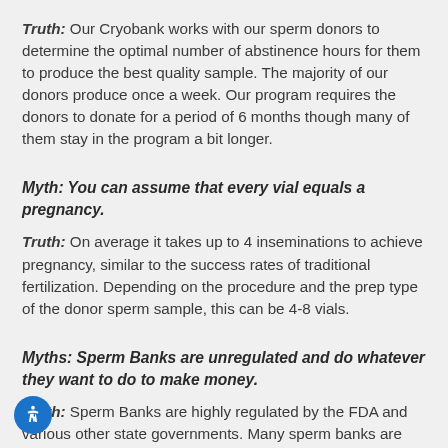Truth: Our Cryobank works with our sperm donors to determine the optimal number of abstinence hours for them to produce the best quality sample. The majority of our donors produce once a week. Our program requires the donors to donate for a period of 6 months though many of them stay in the program a bit longer.
Myth: You can assume that every vial equals a pregnancy.
Truth: On average it takes up to 4 inseminations to achieve pregnancy, similar to the success rates of traditional fertilization. Depending on the procedure and the prep type of the donor sperm sample, this can be 4-8 vials.
Myths: Sperm Banks are unregulated and do whatever they want to do to make money.
Truth: Sperm Banks are highly regulated by the FDA and various other state governments. Many sperm banks are also AATB accredited and all follow the guidelines of the